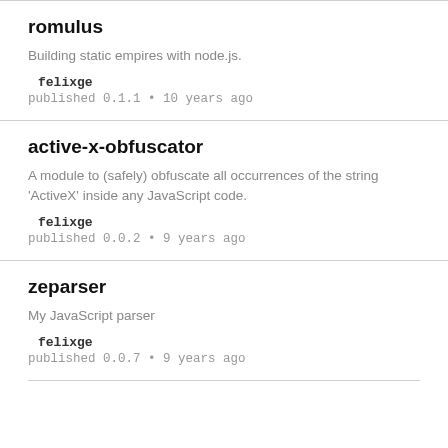romulus
Building static empires with node.js.
felixge
published 0.1.1 • 10 years ago
active-x-obfuscator
A module to (safely) obfuscate all occurrences of the string 'ActiveX' inside any JavaScript code.
felixge
published 0.0.2 • 9 years ago
zeparser
My JavaScript parser
felixge
published 0.0.7 • 9 years ago